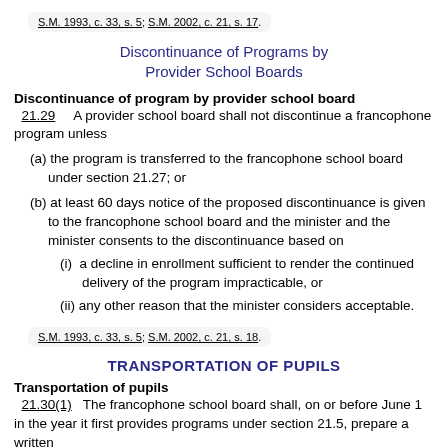S.M. 1993, c. 33, s. 5; S.M. 2002, c. 21, s. 17.
Discontinuance of Programs by Provider School Boards
Discontinuance of program by provider school board
21.29   A provider school board shall not discontinue a francophone program unless
(a) the program is transferred to the francophone school board under section 21.27; or
(b) at least 60 days notice of the proposed discontinuance is given to the francophone school board and the minister and the minister consents to the discontinuance based on
(i) a decline in enrollment sufficient to render the continued delivery of the program impracticable, or
(ii) any other reason that the minister considers acceptable.
S.M. 1993, c. 33, s. 5; S.M. 2002, c. 21, s. 18.
TRANSPORTATION OF PUPILS
Transportation of pupils
21.30(1)   The francophone school board shall, on or before June 1 in the year it first provides programs under section 21.5, prepare a written